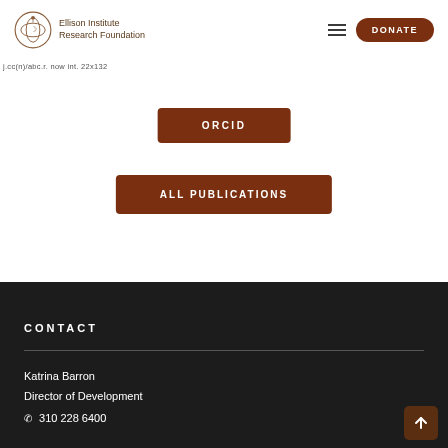Ellison Institute Research Foundation | DONATE
j.cc(n)/abc.r. now int. 22x132
ORCID
ALL PUBLICATIONS
CONTACT
Katrina Barron
Director of Development
310 228 6400